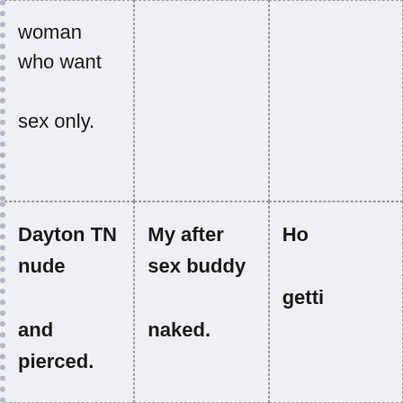woman who want sex only.
Dayton TN nude and pierced.
My after sex buddy naked.
Ho getti